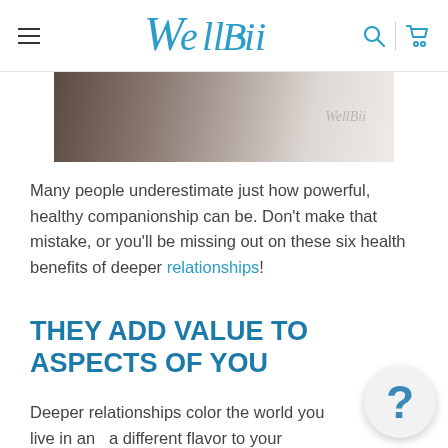WellBii
[Figure (photo): A hand holding or touching a white product with WellBii logo visible in the background]
Many people underestimate just how powerful, healthy companionship can be. Don't make that mistake, or you'll be missing out on these six health benefits of deeper relationships!
THEY ADD VALUE TO ASPECTS OF YOU
Deeper relationships color the world you live in and add a different flavor to your everyday experiences. In other words, they sprinkle additional value into many different